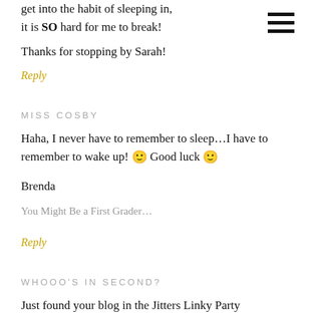get into the habit of sleeping in, it is SO hard for me to break!
Thanks for stopping by Sarah!
Reply
MISS COSBY
Haha, I never have to remember to sleep…I have to remember to wake up! 🙂 Good luck 🙂
Brenda
You Might Be a First Grader…
Reply
WHOOO'S IN SECOND?
Just found your blog in the Jitters Linky Party